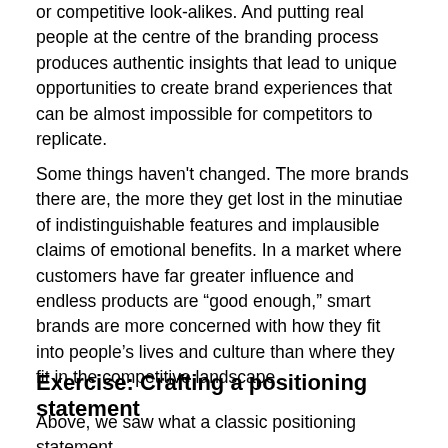or competitive look-alikes. And putting real people at the centre of the branding process produces authentic insights that lead to unique opportunities to create brand experiences that can be almost impossible for competitors to replicate.
Some things haven't changed. The more brands there are, the more they get lost in the minutiae of indistinguishable features and implausible claims of emotional benefits. In a market where customers have far greater influence and endless products are “good enough,” smart brands are more concerned with how they fit into people’s lives and culture than where they fit in the competitive landscape.
Exercise: Crafting a positioning statement
Above, we saw what a classic positioning statement